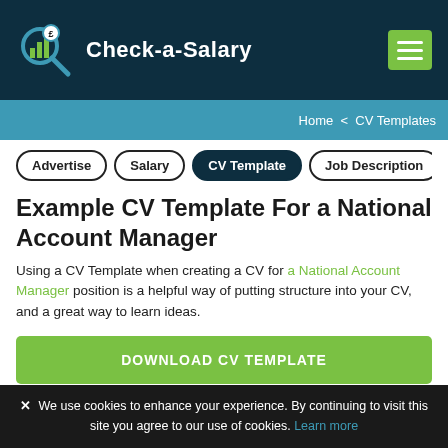Check-a-Salary
Home < CV Templates
Advertise
Salary
CV Template
Job Description
Ad
Example CV Template For a National Account Manager
Using a CV Template when creating a CV for a National Account Manager position is a helpful way of putting structure into your CV, and a great way to learn ideas.
DOWNLOAD CV TEMPLATE
We use cookies to enhance your experience. By continuing to visit this site you agree to our use of cookies. Learn more